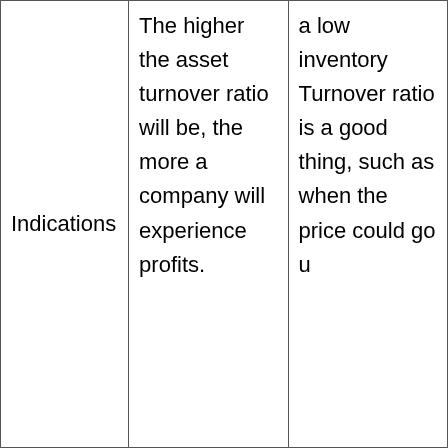| Indications | The higher the asset turnover ratio will be, the more a company will experience profits. | a low inventory Turnover ratio is a good thing, such as when the price could go u... |